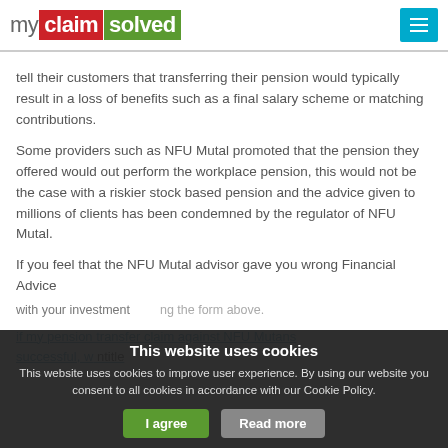my claim solved
tell their customers that transferring their pension would typically result in a loss of benefits such as a final salary scheme or matching contributions.
Some providers such as NFU Mutal promoted that the pension they offered would out perform the workplace pension, this would not be the case with a riskier stock based pension and the advice given to millions of clients has been condemned by the regulator of NFU Mutal.
If you feel that the NFU Mutal advisor gave you wrong Financial Advice with your investment, you can start the claim by filling the form above.
If my pension transfer claim against NFU Mutans successful, w...ntitle...
This website uses cookies
This website uses cookies to improve user experience. By using our website you consent to all cookies in accordance with our Cookie Policy.